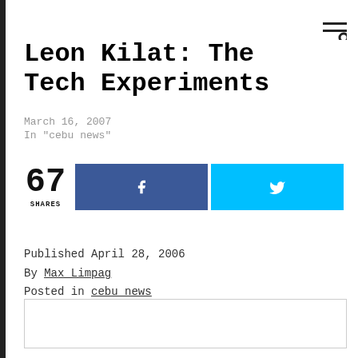Leon Kilat: The Tech Experiments
March 16, 2007
In "cebu news"
67 SHARES
Published April 28, 2006
By Max Limpag
Posted in cebu news